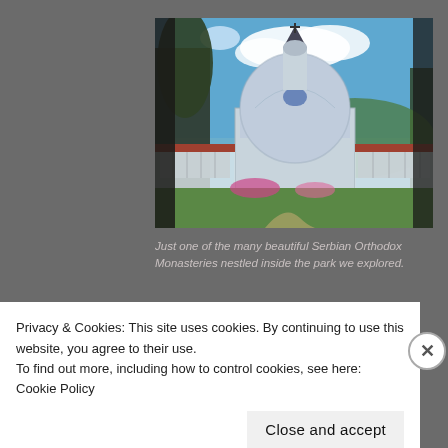[Figure (photo): Photograph of a Serbian Orthodox Monastery church with a domed apse, baroque architecture, white facade, surrounded by green lawns, flowers, and low white monastery buildings. Blue sky with clouds visible above.]
Just one of the many beautiful Serbian Orthodox Monasteries nestled inside the park we explored.
[Figure (map): Partial view of a map showing the area around the monastery, with colored regions and map text. Partially obscured by cookie consent banner.]
Privacy & Cookies: This site uses cookies. By continuing to use this website, you agree to their use.
To find out more, including how to control cookies, see here: Cookie Policy
Close and accept